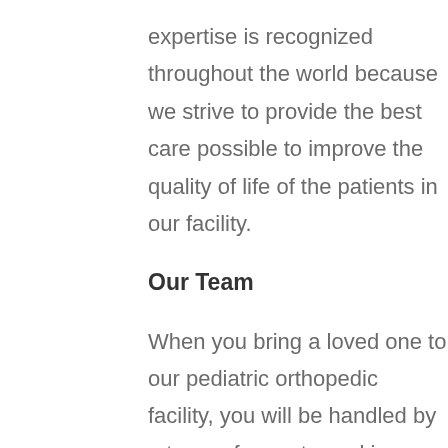expertise is recognized throughout the world because we strive to provide the best care possible to improve the quality of life of the patients in our facility.
Our Team
When you bring a loved one to our pediatric orthopedic facility, you will be handled by a team of experts working collaboratively to provide quality care. Our team